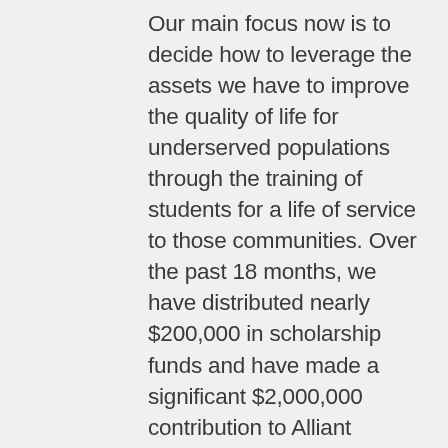Our main focus now is to decide how to leverage the assets we have to improve the quality of life for underserved populations through the training of students for a life of service to those communities. Over the past 18 months, we have distributed nearly $200,000 in scholarship funds and have made a significant $2,000,000 contribution to Alliant International University for student scholarship support over the next 12 months. We are keenly aware that this impressive institution has a proven track record of preparing its students for problem solving at the individual, family, organizational and community levels. We have also pledged an additional $3,000,000 over the following two years to ensure that students with the passion to make a difference can pursue their educational goals.